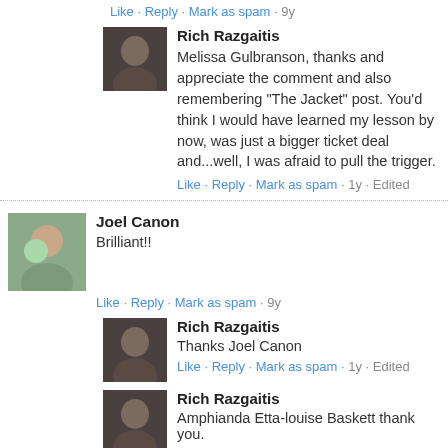Like · Reply · Mark as spam · 9y
Rich Razgaitis
Melissa Gulbranson, thanks and appreciate the comment and also remembering "The Jacket" post. You'd think I would have learned my lesson by now, was just a bigger ticket deal and...well, I was afraid to pull the trigger.
Like · Reply · Mark as spam · 1y · Edited
Joel Canon
Brilliant!!
Like · Reply · Mark as spam · 9y
Rich Razgaitis
Thanks Joel Canon
Like · Reply · Mark as spam · 1y · Edited
Rich Razgaitis
Amphianda Etta-louise Baskett thank you.
Like · Reply · Mark as spam · 1y · Edited